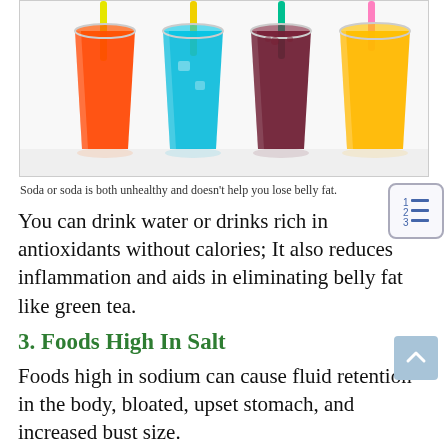[Figure (photo): Four colorful sodas in clear plastic cups with straws — red/orange, blue, dark purple/brown, and yellow/orange — arranged in a row on a white background.]
Soda or soda is both unhealthy and doesn't help you lose belly fat.
You can drink water or drinks rich in antioxidants without calories; It also reduces inflammation and aids in eliminating belly fat like green tea.
3. Foods High In Salt
Foods high in sodium can cause fluid retention in the body, bloated, upset stomach, and increased bust size.